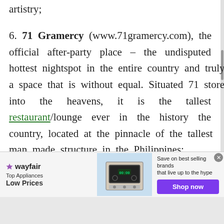artistry;
6. 71 Gramercy (www.71gramercy.com), the official after-party place – the undisputed hottest nightspot in the entire country and truly a space that is without equal. Situated 71 storeys into the heavens, it is the tallest restaurant/lounge ever in the history the country, located at the pinnacle of the tallest man made structure in the Philippines;
7. Hawkbag (www.hawkbag.com) – recognized
[Figure (infographic): Wayfair advertisement banner: Top Appliances Low Prices, with appliance photo, 'Save on best selling brands that live up to the hype', and purple Shop now button]